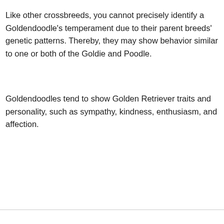Like other crossbreeds, you cannot precisely identify a Goldendoodle's temperament due to their parent breeds' genetic patterns. Thereby, they may show behavior similar to one or both of the Goldie and Poodle.
Goldendoodles tend to show Golden Retriever traits and personality, such as sympathy, kindness, enthusiasm, and affection.